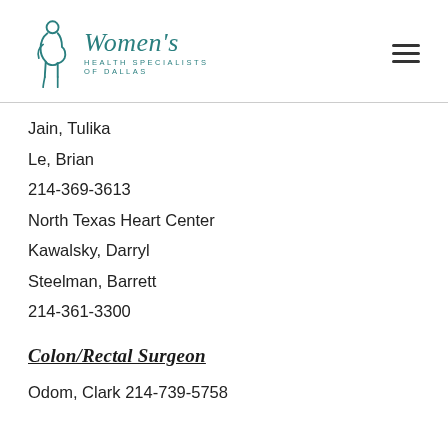[Figure (logo): Women's Health Specialists of Dallas logo with pregnant woman silhouette]
Jain, Tulika
Le, Brian
214-369-3613
North Texas Heart Center
Kawalsky, Darryl
Steelman, Barrett
214-361-3300
Colon/Rectal Surgeon
Odom, Clark 214-739-5758